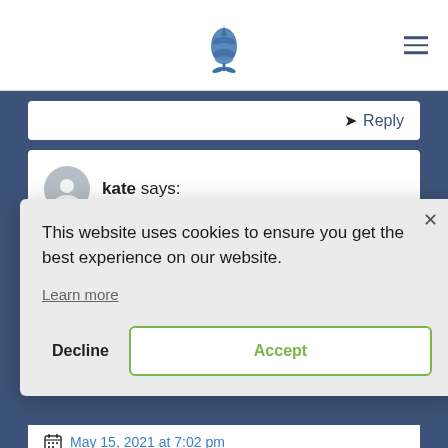Reply
kate says:
May 15, 2021 at 6:55 pm
Does this mean that we can purchase a
This website uses cookies to ensure you get the best experience on our website.
Learn more
Decline
Accept
May 15, 2021 at 7:02 pm